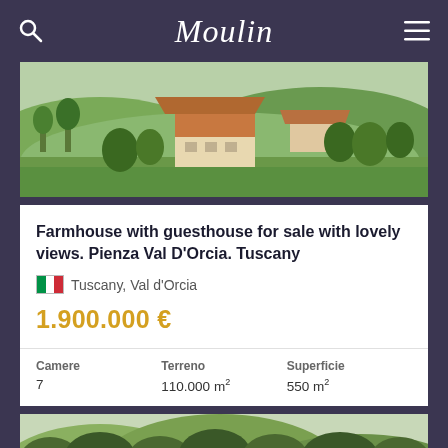Moulin
[Figure (photo): Aerial view of a Tuscan farmhouse with green fields and hills in the background]
Farmhouse with guesthouse for sale with lovely views. Pienza Val D'Orcia. Tuscany
Tuscany, Val d'Orcia
1.900.000 €
| Camere | Terreno | Superficie |
| --- | --- | --- |
| 7 | 110.000 m² | 550 m² |
[Figure (photo): Aerial view of a hilltop property surrounded by dense wooded hillside in Tuscany]